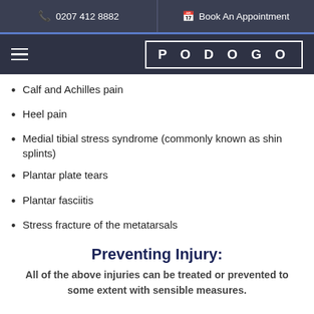0207 412 8882  |  Book An Appointment
PODOGO
Calf and Achilles pain
Heel pain
Medial tibial stress syndrome (commonly known as shin splints)
Plantar plate tears
Plantar fasciitis
Stress fracture of the metatarsals
Preventing Injury:
All of the above injuries can be treated or prevented to some extent with sensible measures.